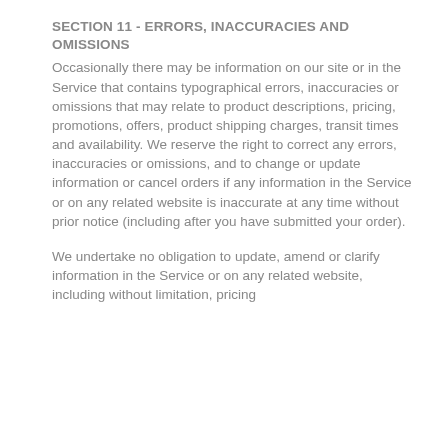SECTION 11 - ERRORS, INACCURACIES AND OMISSIONS
Occasionally there may be information on our site or in the Service that contains typographical errors, inaccuracies or omissions that may relate to product descriptions, pricing, promotions, offers, product shipping charges, transit times and availability. We reserve the right to correct any errors, inaccuracies or omissions, and to change or update information or cancel orders if any information in the Service or on any related website is inaccurate at any time without prior notice (including after you have submitted your order).
We undertake no obligation to update, amend or clarify information in the Service or on any related website, including without limitation, pricing